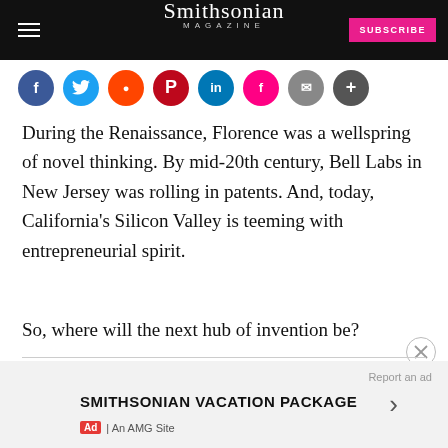Smithsonian MAGAZINE
[Figure (other): Social sharing icons row: Facebook, Twitter, Reddit, Pinterest, LinkedIn, Flipboard, Email, More]
During the Renaissance, Florence was a wellspring of novel thinking. By mid-20th century, Bell Labs in New Jersey was rolling in patents. And, today, California’s Silicon Valley is teeming with entrepreneurial spirit.
So, where will the next hub of invention be?
SMITHSONIAN VACATION PACKAGE
Ad | An AMG Site